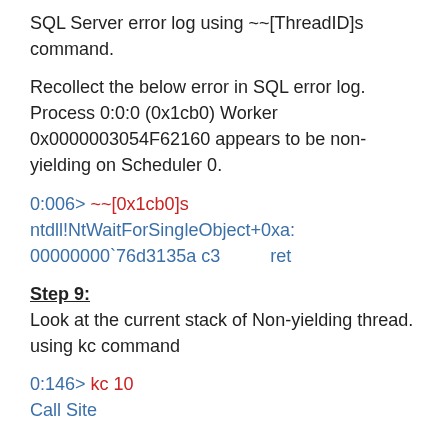SQL Server error log using ~~[ThreadID]s command.
Recollect the below error in SQL error log.  Process 0:0:0 (0x1cb0) Worker 0x0000003054F62160 appears to be non-yielding on Scheduler 0.
0:006> ~~[0x1cb0]s
ntdll!NtWaitForSingleObject+0xa:
00000000`76d3135a c3          ret
Step 9:
Look at the current stack of Non-yielding thread. using kc command
0:146> kc 10
Call Site